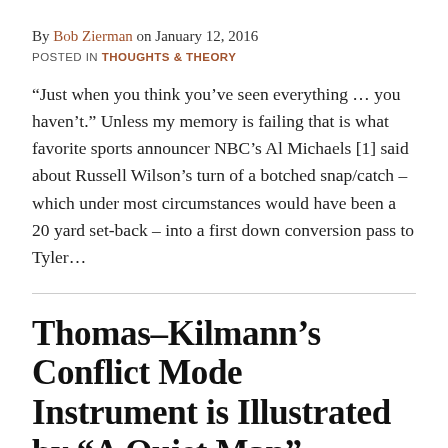By Bob Zierman on January 12, 2016
POSTED IN THOUGHTS & THEORY
“Just when you think you’ve seen everything … you haven’t.” Unless my memory is failing that is what favorite sports announcer NBC’s Al Michaels [1] said about Russell Wilson’s turn of a botched snap/catch – which under most circumstances would have been a 20 yard set-back – into a first down conversion pass to Tyler…
Thomas-Kilmann’s Conflict Mode Instrument is Illustrated by “A Quiet Man”